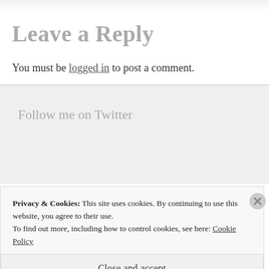Leave a Reply
You must be logged in to post a comment.
Follow me on Twitter
Privacy & Cookies: This site uses cookies. By continuing to use this website, you agree to their use.
To find out more, including how to control cookies, see here: Cookie Policy
Close and accept